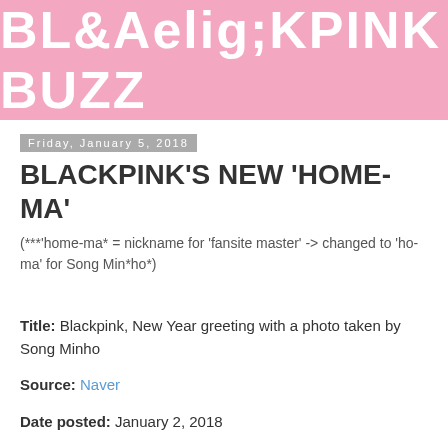BLACKPINK BUZZ
Friday, January 5, 2018
BLACKPINK'S NEW 'HOME-MA'
(***'home-ma* = nickname for 'fansite master' -> changed to 'ho-ma' for Song Min*ho*)
Title: Blackpink, New Year greeting with a photo taken by Song Minho
Source: Naver
Date posted: January 2, 2018